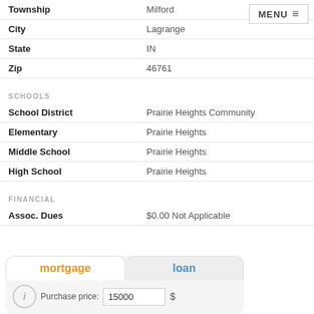| Field | Value |
| --- | --- |
| Township | Milford |
| City | Lagrange |
| State | IN |
| Zip | 46761 |
SCHOOLS
| Field | Value |
| --- | --- |
| School District | Prairie Heights Community |
| Elementary | Prairie Heights |
| Middle School | Prairie Heights |
| High School | Prairie Heights |
FINANCIAL
| Field | Value |
| --- | --- |
| Assoc. Dues | $0.00 Not Applicable |
[Figure (screenshot): Mortgage/loan calculator widget with two tabs: 'mortgage' (orange, active) and 'loan' (blue). Shows a Purchase price field with value 15000 and a dollar sign input.]